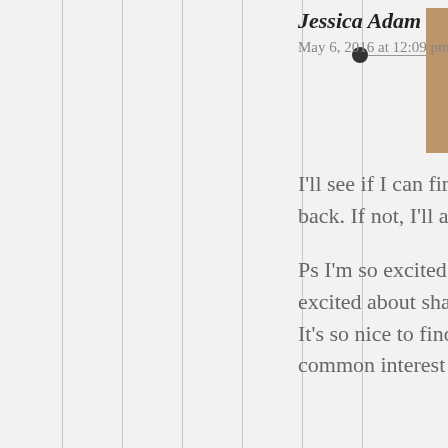[Figure (photo): Sepia-toned vintage photograph of a woman with a child, used as a comment avatar for Jessica Adam]
Jessica Adam
May 6, 2016 at 12:09 pm
I'll see if I can find one when we get back. If not, I'll ask mom.

Ps I'm so excited to have you be so excited about sharing family recipes. It's so nice to find someone with a common interest in family history. 🙂